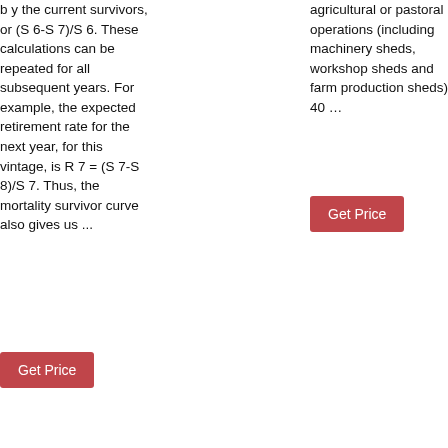b y the current survivors, or (S 6-S 7)/S 6. These calculations can be repeated for all subsequent years. For example, the expected retirement rate for the next year, for this vintage, is R 7 = (S 7-S 8)/S 7. Thus, the mortality survivor curve also gives us ...
agricultural or pastoral operations (including machinery sheds, workshop sheds and farm production sheds) 40 …
tear, frequent new releases and tech leaping forward at lightning speed means that what you carry in your pocket can end up out-of-date fast …
[Figure (other): Get Price button (red)]
[Figure (other): Get Price button (red)]
[Figure (other): Get Price button (red)]